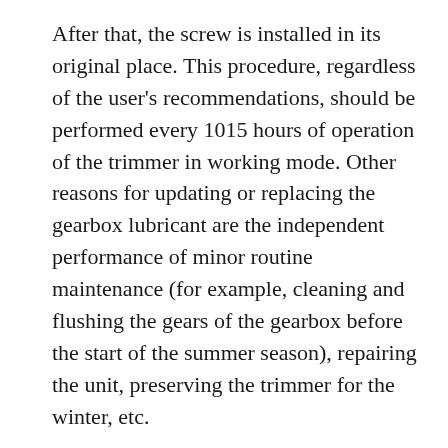After that, the screw is installed in its original place. This procedure, regardless of the user's recommendations, should be performed every 1015 hours of operation of the trimmer in working mode. Other reasons for updating or replacing the gearbox lubricant are the independent performance of minor routine maintenance (for example, cleaning and flushing the gears of the gearbox before the start of the summer season), repairing the unit, preserving the trimmer for the winter, etc.
If the gear unit is disassembled, it is recommended to completely remove the remnants of the old grease from the surface of the parts, even if it does not have any traces of